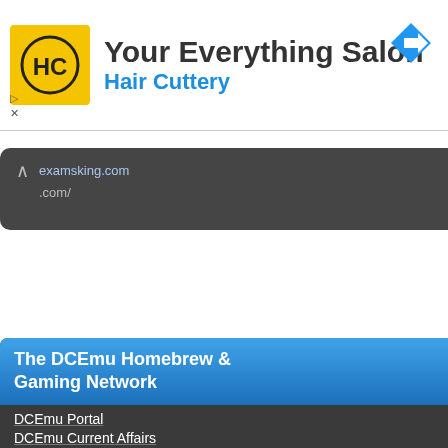[Figure (screenshot): Hair Cuttery advertisement banner with yellow HC logo, 'Your Everything Salon' headline, 'Hair Cuttery' in blue, and a blue navigation arrow icon on the right]
examsking.com
.com/
The DCEmu Homebrew & Gaming Network
DCEmu Portal
DCEmu Current Affairs
DCEmu Forums
DCEmu Console Sites
Apple & Android News
Sega News
Nintendo News
Open Source Handhelds
PC Gaming
Sony Console News
Xbox News
DCEmu Misc Sites